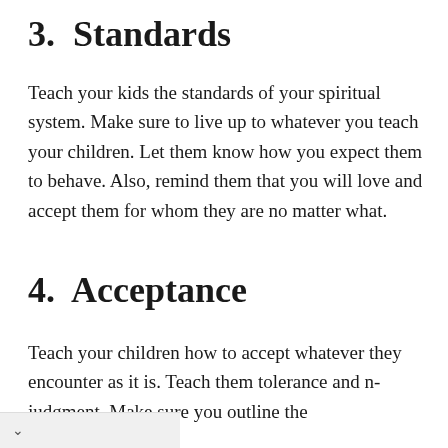3.  Standards
Teach your kids the standards of your spiritual system. Make sure to live up to whatever you teach your children. Let them know how you expect them to behave. Also, remind them that you will love and accept them for whom they are no matter what.
4.  Acceptance
Teach your children how to accept whatever they encounter as it is. Teach them tolerance and n-judgment. Make sure you outline the